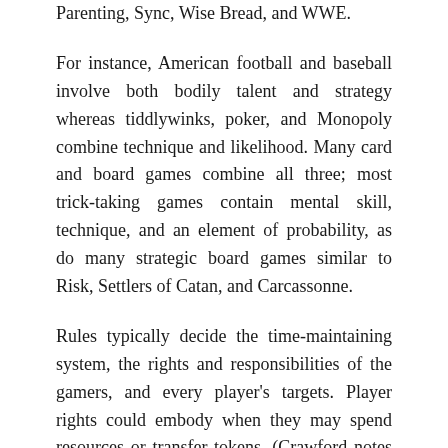Parenting, Sync, Wise Bread, and WWE.
For instance, American football and baseball involve both bodily talent and strategy whereas tiddlywinks, poker, and Monopoly combine technique and likelihood. Many card and board games combine all three; most trick-taking games contain mental skill, technique, and an element of probability, as do many strategic board games similar to Risk, Settlers of Catan, and Carcassonne.
Rules typically decide the time-maintaining system, the rights and responsibilities of the gamers, and every player's targets. Player rights could embody when they may spend resources or transfer tokens. (Crawford notes that by his definition, (a) a toy can